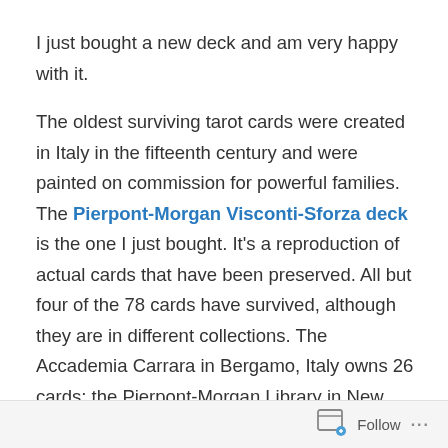I just bought a new deck and am very happy with it.
The oldest surviving tarot cards were created in Italy in the fifteenth century and were painted on commission for powerful families. The Pierpont-Morgan Visconti-Sforza deck is the one I just bought. It's a reproduction of actual cards that have been preserved. All but four of the 78 cards have survived, although they are in different collections. The Accademia Carrara in Bergamo, Italy owns 26 cards; the Pierpont-Morgan Library in New York owns 35 cards, and there are 13 cards in a private collection in Italy, the Casa Colleoni. These cards are big, at 17.5 by 8.7 cm, and this reproduction is the same size. They were paintings, as well—there are cards surviving from about the same time that were printed from
Follow ···